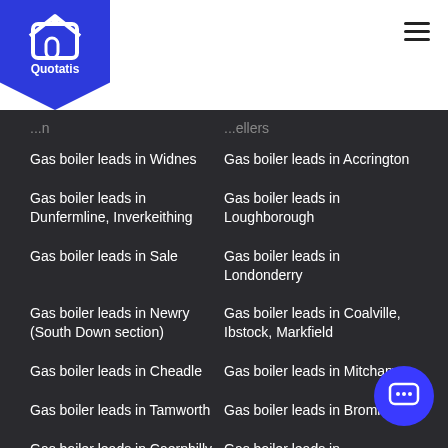Quotatis
Gas boiler leads in Widnes
Gas boiler leads in Accrington
Gas boiler leads in Dunfermline, Inverkeithing
Gas boiler leads in Loughborough
Gas boiler leads in Sale
Gas boiler leads in Londonderry
Gas boiler leads in Newry (South Down section)
Gas boiler leads in Coalville, Ibstock, Markfield
Gas boiler leads in Cheadle
Gas boiler leads in Mitcham
Gas boiler leads in Tamworth
Gas boiler leads in Bromley
Gas boiler leads in Caerphilly
Gas boiler leads in Farnborough
Gas boiler leads in Airdrie
Gas boiler leads in Motherwell